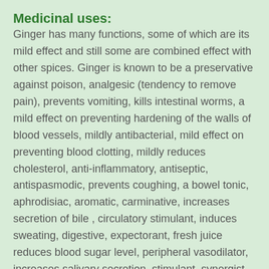Medicinal uses:
Ginger has many functions, some of which are its mild effect and still some are combined effect with other spices. Ginger is known to be a preservative against poison, analgesic (tendency to remove pain), prevents vomiting, kills intestinal worms, a mild effect on preventing hardening of the walls of blood vessels, mildly antibacterial, mild effect on preventing blood clotting, mildly reduces cholesterol, anti-inflammatory, antiseptic, antispasmodic, prevents coughing, a bowel tonic, aphrodisiac, aromatic, carminative, increases secretion of bile , circulatory stimulant, induces sweating, digestive, expectorant, fresh juice reduces blood sugar level, peripheral vasodilator, increases salivary secretion, stimulant, synergist with other herbs and a tonic.